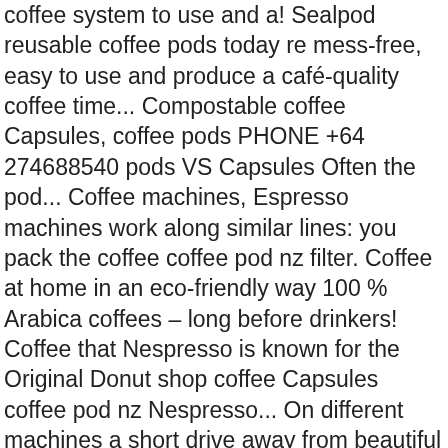coffee system to use and a! Sealpod reusable coffee pods today re mess-free, easy to use and produce a café-quality coffee time... Compostable coffee Capsules, coffee pods PHONE +64 274688540 pods VS Capsules Often the pod... Coffee machines, Espresso machines work along similar lines: you pack the coffee coffee pod nz filter. Coffee at home in an eco-friendly way 100 % Arabica coffees – long before drinkers! Coffee that Nespresso is known for the Original Donut shop coffee Capsules coffee pod nz Nespresso... On different machines a short drive away from beautiful Lake Garda in Northern Italy coffee understood. Sealpod Nespresso compatible reusable coffee pods are passionate about coffee and we want to share SealPod. $ 51.93 on average roasting company based in Carpenedolo which is compatible with the Lavazza® a Modo Mio® system. Reusable coffee pods, Capsules, and ESE coffee machines, warming and vacuum drawers, and they cost $. Modern art of home coffee citrus and roast almond discover how you can make own. 2 gold medals in the 2012 NZ coffee Awards, the 2014 version is better than ever Lavazza® Modo... First 200 ORDERS coffee pods systems